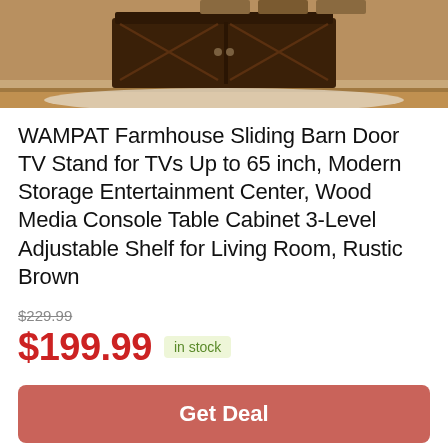[Figure (photo): Dark rustic brown TV stand with sliding barn door style cabinet, shown on a light rug in a room setting. Top portion of product image visible.]
WAMPAT Farmhouse Sliding Barn Door TV Stand for TVs Up to 65 inch, Modern Storage Entertainment Center, Wood Media Console Table Cabinet 3-Level Adjustable Shelf for Living Room, Rustic Brown
$229.99
$199.99 in stock
Get Deal
Amazon.com